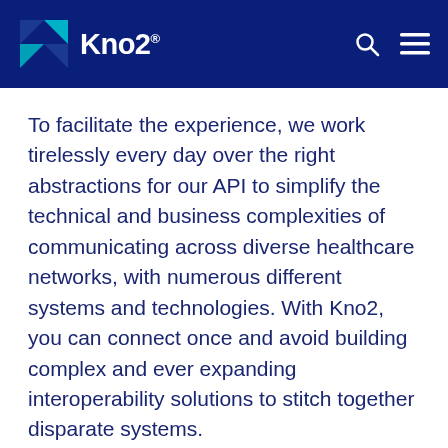Kno2
To facilitate the experience, we work tirelessly every day over the right abstractions for our API to simplify the technical and business complexities of communicating across diverse healthcare networks, with numerous different systems and technologies. With Kno2, you can connect once and avoid building complex and ever expanding interoperability solutions to stitch together disparate systems.